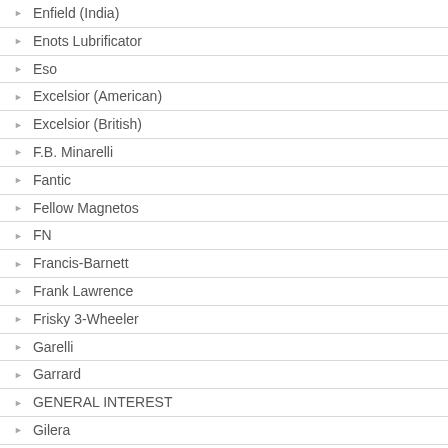Enfield (India)
Enots Lubrificator
Eso
Excelsior (American)
Excelsior (British)
F.B. Minarelli
Fantic
Fellow Magnetos
FN
Francis-Barnett
Frank Lawrence
Frisky 3-Wheeler
Garelli
Garrard
GENERAL INTEREST
Gilera
Gloria Sidecars
Gordon 3-Wheeler